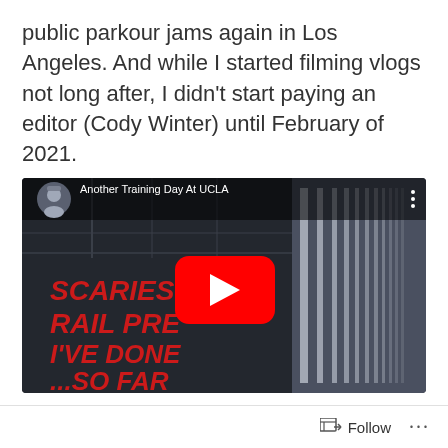public parkour jams again in Los Angeles. And while I started filming vlogs not long after, I didn't start paying an editor (Cody Winter) until February of 2021.
[Figure (screenshot): YouTube video thumbnail showing 'Another Training Day At UCLA' with text overlay reading 'SCARIEST RAIL PRE I'VE DONE ...SO FAR' in red letters, featuring a red YouTube play button in the center and a small circular profile photo of a man in the top left corner.]
Every week our group trains somewhere
Follow ...